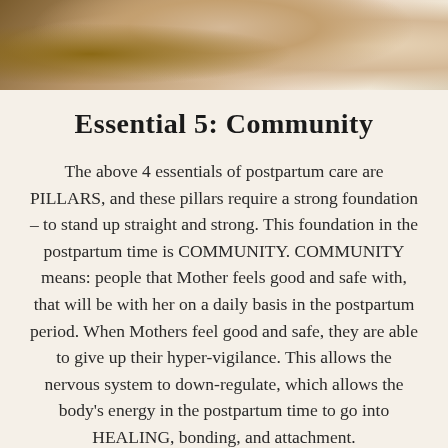[Figure (photo): Partial photo of a mother with a baby, showing a couch with floral pillow and soft blankets in warm tones]
Essential 5: Community
The above 4 essentials of postpartum care are PILLARS, and these pillars require a strong foundation – to stand up straight and strong. This foundation in the postpartum time is COMMUNITY. COMMUNITY means: people that Mother feels good and safe with, that will be with her on a daily basis in the postpartum period. When Mothers feel good and safe, they are able to give up their hyper-vigilance. This allows the nervous system to down-regulate, which allows the body's energy in the postpartum time to go into HEALING, bonding, and attachment.